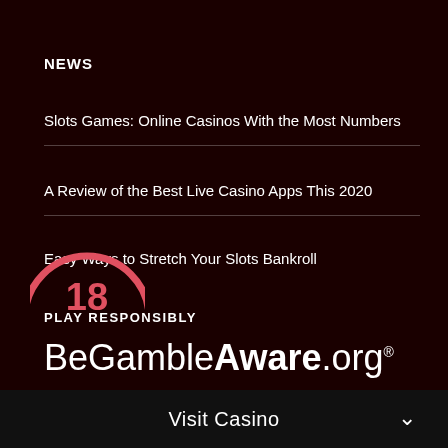NEWS
Slots Games: Online Casinos With the Most Numbers
A Review of the Best Live Casino Apps This 2020
Easy Ways to Stretch Your Slots Bankroll
PLAY RESPONSIBLY
BeGambleAware.org®
[Figure (logo): Partial age restriction circle logo (18+) in red/pink at bottom left]
Visit Casino ˅